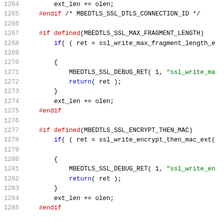[Figure (screenshot): Source code listing lines 1264-1285 in C, showing preprocessor directives and SSL extension writing logic for MBEDTLS library]